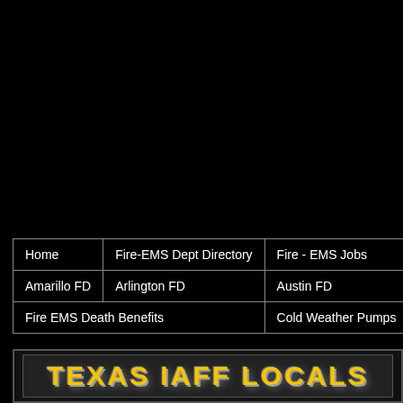[Figure (screenshot): Black background header area of a Texas fire/EMS website]
| Home | Fire-EMS Dept Directory | Fire - EMS Jobs | IAFF Locals |
| --- | --- | --- | --- |
| Amarillo FD | Arlington FD | Austin FD | Dallas FD |
| Fire EMS Death Benefits | Cold Weather Pumps | Links |  |
[Figure (logo): TEXAS IAFF LOCALS logo in yellow distressed lettering on dark background]